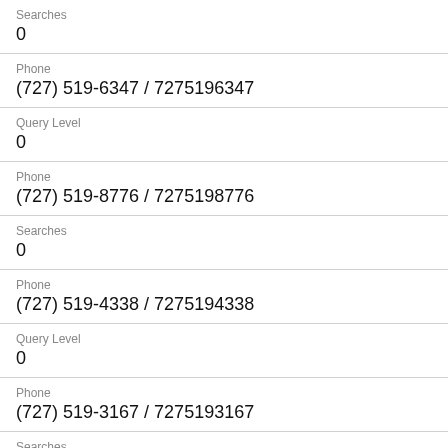Searches
0
Phone
(727) 519-6347 / 7275196347
Query Level
0
Phone
(727) 519-8776 / 7275198776
Searches
0
Phone
(727) 519-4338 / 7275194338
Query Level
0
Phone
(727) 519-3167 / 7275193167
Searches
0